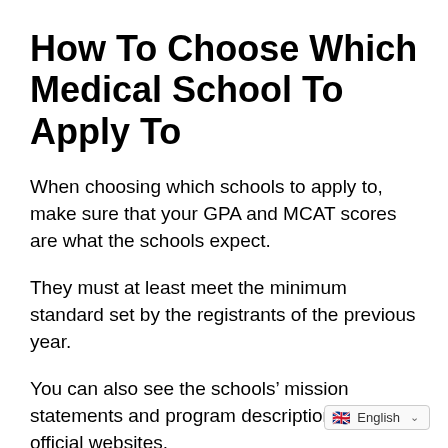How To Choose Which Medical School To Apply To
When choosing which schools to apply to, make sure that your GPA and MCAT scores are what the schools expect.
They must at least meet the minimum standard set by the registrants of the previous year.
You can also see the schools’ mission statements and program descriptions on their official websites.